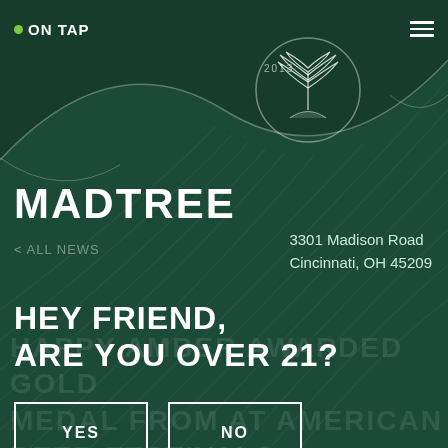ON TAP
[Figure (logo): MadTree Brewing circular tree logo with '2013' text above, set within a wave/arch graphic on dark green background]
MADTREE
3301 Madison Road
Cincinnati, OH 45209
< ALL NEWS
HEY FRIEND, ARE YOU OVER 21?
YES
NO